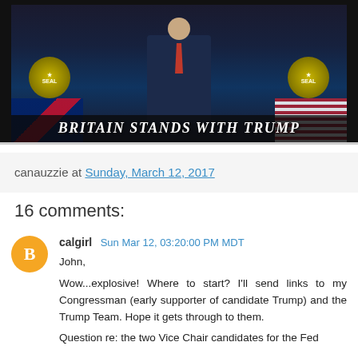[Figure (photo): Photo of a man in a dark suit with a red tie, flanked by a UK flag and a US flag, with two presidential seals visible. Text overlay reads 'BRITAIN STANDS WITH TRUMP'.]
canauzzie at Sunday, March 12, 2017
16 comments:
calgirl  Sun Mar 12, 03:20:00 PM MDT
John,

Wow...explosive! Where to start? I'll send links to my Congressman (early supporter of candidate Trump) and the Trump Team. Hope it gets through to them.

Question re: the two Vice Chair candidates for the Fed